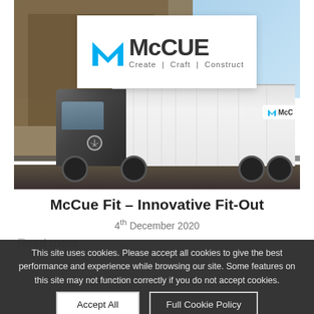[Figure (photo): McCue company truck (white Mercedes-Benz box truck with McCue logo) parked in front of a stone castle wall, with blue sky in background. A white box overlay in the upper portion of the photo shows the McCue logo (blue M icon with 'McCUE' text and tagline 'Create | Craft | Construct').]
McCue Fit – Innovative Fit-Out
4th December 2020
Read more
This site uses cookies. Please accept all cookies to give the best performance and experience while browsing our site. Some features on this site may not function correctly if you do not accept cookies.
Accept All
Full Cookie Policy